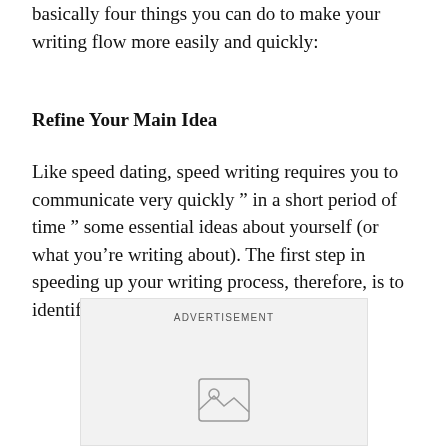basically four things you can do to make your writing flow more easily and quickly:
Refine Your Main Idea
Like speed dating, speed writing requires you to communicate very quickly ” in a short period of time ” some essential ideas about yourself (or what you’re writing about). The first step in speeding up your writing process, therefore, is to identify those main ideas.
[Figure (other): Advertisement placeholder box with image icon]